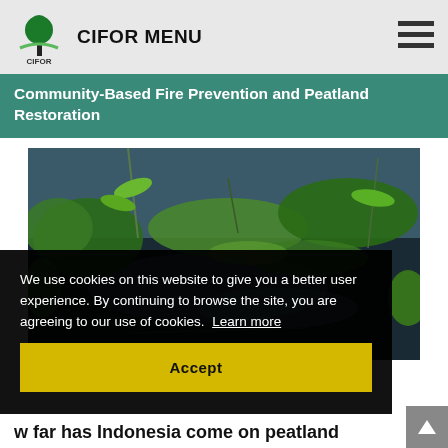CIFOR MENU
Community-Based Fire Prevention and Peatland Restoration
[Figure (photo): Close-up photo of peatland wetland vegetation with green aquatic plants and moss floating on dark water reflecting sky and clouds]
We use cookies on this website to give you a better user experience. By continuing to browse the site, you are agreeing to our use of cookies.  Learn more
Accept
w far has Indonesia come on peatland